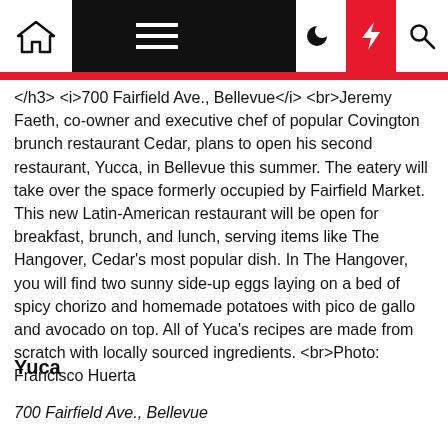Navigation bar with home, menu, dark mode, flash, and search icons
</h3> <i>700 Fairfield Ave., Bellevue</i> <br>Jeremy Faeth, co-owner and executive chef of popular Covington brunch restaurant Cedar, plans to open his second restaurant, Yucca, in Bellevue this summer. The eatery will take over the space formerly occupied by Fairfield Market. This new Latin-American restaurant will be open for breakfast, brunch, and lunch, serving items like The Hangover, Cedar's most popular dish. In The Hangover, you will find two sunny side-up eggs laying on a bed of spicy chorizo and homemade potatoes with pico de gallo and avocado on top. All of Yuca's recipes are made from scratch with locally sourced ingredients. <br>Photo: Francisco Huerta
Yuca
700 Fairfield Ave., Bellevue